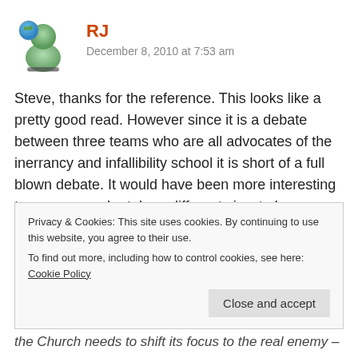[Figure (illustration): Avatar icon of a 3D rendered person with a globe/earth image overlay]
RJ
December 8, 2010 at 7:53 am
Steve, thanks for the reference. This looks like a pretty good read. However since it is a debate between three teams who are all advocates of the inerrancy and infallibility school it is short of a full blown debate. It would have been more interesting to see some who take a different view to be included in the book.
But I did like this comment for one of the reviews:
Norman Geisler gives a very wise forward to the book. He
Privacy & Cookies: This site uses cookies. By continuing to use this website, you agree to their use.
To find out more, including how to control cookies, see here: Cookie Policy
Close and accept
the Church needs to shift its focus to the real enemy –